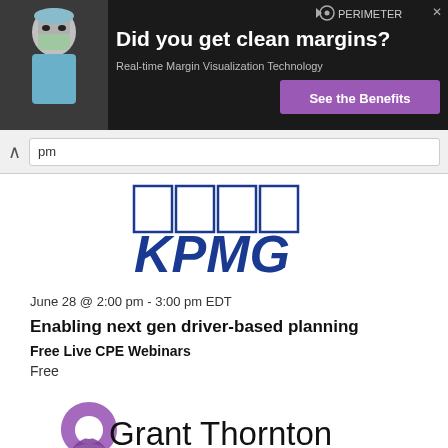[Figure (screenshot): Advertisement banner: surgeon photo on left, text 'Did you get clean margins? Real-time Margin Visualization Technology', Perimeter logo, 'See the Benefits' purple CTA button]
pm
[Figure (logo): KPMG logo - blue block letters with four rectangular grid boxes above]
June 28 @ 2:00 pm - 3:00 pm EDT
Enabling next gen driver-based planning
Free Live CPE Webinars
Free
[Figure (logo): Grant Thornton logo - purple abstract swirl/flower shape with text 'Grant Thornton']